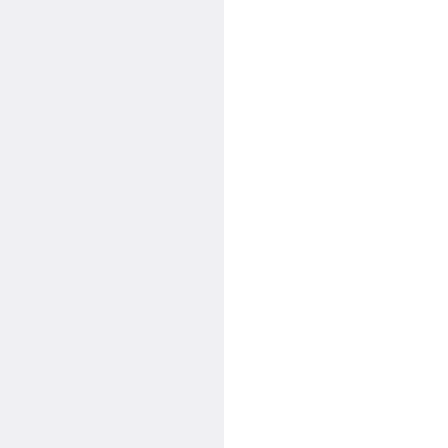147. Br Bernard McGrath
St John of God Brother Bernard... 1993, was jailed in Sydney in 1... 2006 to 2008. Any Australian vi... Macquarie detectives office in N... more HERE.
148. Fr Ron McKeirnan
Father Ronald McKeirnan, of th... years jail (one year minimum) in... offences against boys. See Bro...
149. Fr Paul McLachlan
Father Paul McLachlan, of the B... months jail in 2000, plus 18 mo... McLachlan was formerly the he... and appeared on television reli...